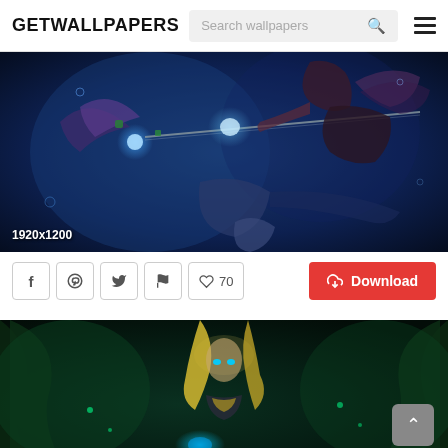GETWALLPAPERS
[Figure (screenshot): Fantasy digital art wallpaper showing a warrior woman with spear and wings in underwater/dark blue scene, resolution 1920x1200]
♥ 70
↓ Download
[Figure (screenshot): Fantasy digital art wallpaper showing a blonde woman warrior with glowing blue eyes in a dark green forest/swamp scene]